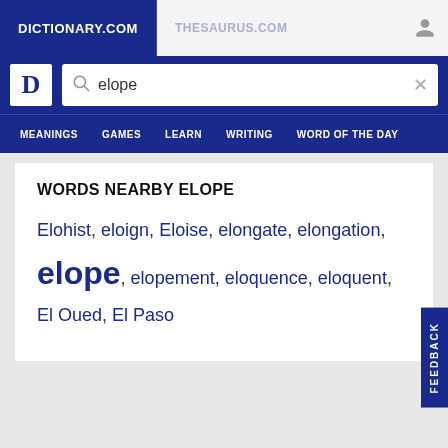DICTIONARY.COM | THESAURUS.COM
WORDS NEARBY ELOPE
Elohist, eloign, Eloise, elongate, elongation, elope, elopement, eloquence, eloquent, El Oued, El Paso